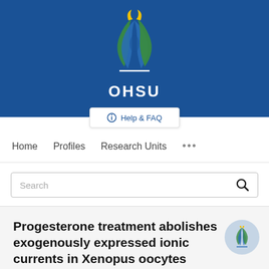[Figure (logo): OHSU (Oregon Health & Science University) logo with stylized DNA/flame icon in blue, green, and yellow on a blue banner background, with the text OHSU below the icon.]
Help & FAQ
Home  Profiles  Research Units  ...
Search
Progesterone treatment abolishes exogenously expressed ionic currents in Xenopus oocytes